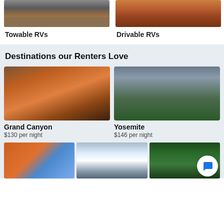[Figure (photo): Photo of a towable RV parked at a campsite]
[Figure (photo): Photo of a white drivable RV motorhome]
Towable RVs
Drivable RVs
Destinations our Renters Love
[Figure (photo): Aerial photo of the Grand Canyon with river visible]
[Figure (photo): Photo of Yosemite Valley with mountains and waterfall]
Grand Canyon
$130 per night
Yosemite
$146 per night
[Figure (photo): Photo of Arches National Park rock arch]
[Figure (photo): Scenic sunset landscape photo]
[Figure (photo): Photo of a forest with tall trees]